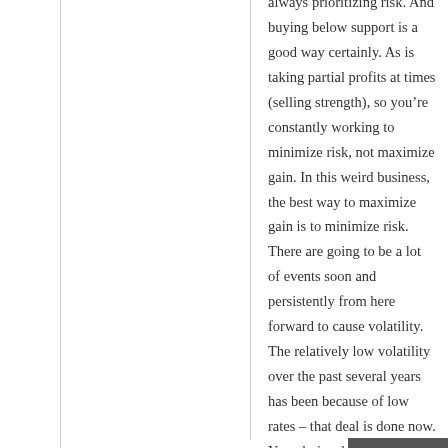always prioritizing risk. And buying below support is a good way certainly. As is taking partial profits at times (selling strength), so you're constantly working to minimize risk, not maximize gain. In this weird business, the best way to maximize gain is to minimize risk. There are going to be a lot of events soon and persistently from here forward to cause volatility. The relatively low volatility over the past several years has been because of low rates – that deal is done now. You obviously understand it Jon, but the charts always “look’ the worst at bottoms. But of course that doesn’t mean an ugly looking chart implies a low. They can look even uglier, but for all of you who have patiently waited for new lows, you have the opportunity now certainly.